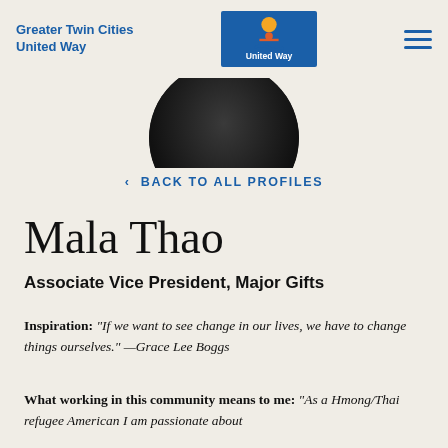Greater Twin Cities United Way
[Figure (photo): Partial circular portrait photo of a person against dark background, showing bottom portion of face/necklace]
< BACK TO ALL PROFILES
Mala Thao
Associate Vice President, Major Gifts
Inspiration: "If we want to see change in our lives, we have to change things ourselves." —Grace Lee Boggs
What working in this community means to me: "As a Hmong/Thai refugee American I am passionate about